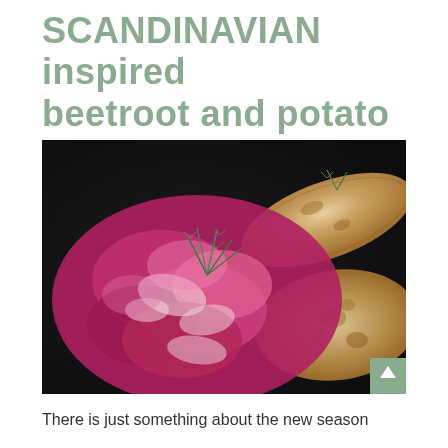SCANDINAVIAN inspired beetroot and potato salad
March 27, 2022
[Figure (photo): Close-up photo of Scandinavian beetroot and potato salad with dill on a dark plate, alongside two pieces of flatbread. A sage-green scroll-to-top button is visible in the lower right corner.]
There is just something about the new season